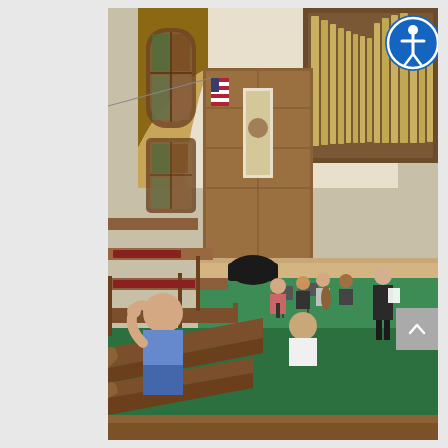[Figure (photo): Interior of a church sanctuary during a music rehearsal or small concert. Wooden pews are visible in the foreground with red cushions. A man in a blue t-shirt sits in the pews on the left with his hand raised. Another person in a white shirt sits further back. On the stage/altar area, several musicians with string instruments are seated, wearing masks. A woman in black stands to the right holding sheet music. The church features stained glass windows, wood paneling, an American flag, a decorative banner, a grand piano, and a large pipe organ in the upper right. Green carpet covers the stage area. An accessibility icon (person in circle) button appears in the top right corner, and a scroll-up arrow button appears on the right side.]